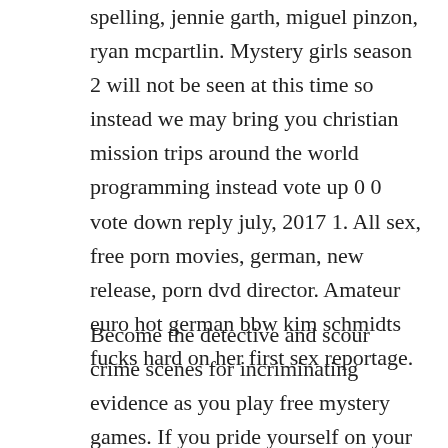spelling, jennie garth, miguel pinzon, ryan mcpartlin. Mystery girls season 2 will not be seen at this time so instead we may bring you christian mission trips around the world programming instead vote up 0 0 vote down reply july, 2017 1. All sex, free porn movies, german, new release, porn dvd director. Amateur euro hot german bbw kim schmidts fucks hard on her first sex reportage.
Become the detective and scour crime scenes for incriminating evidence as you play free mystery games. If you pride yourself on your